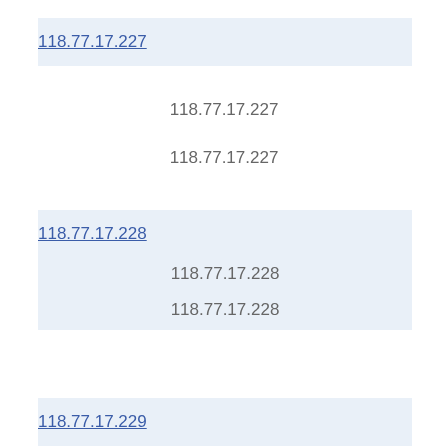118.77.17.227
118.77.17.227
118.77.17.227
118.77.17.228
118.77.17.228
118.77.17.228
118.77.17.229
118.77.17.229
118.77.17.229